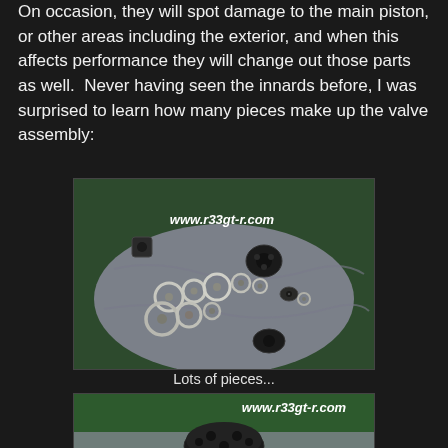On occasion, they will spot damage to the main piston, or other areas including the exterior, and when this affects performance they will change out those parts as well.  Never having seen the innards before, I was surprised to learn how many pieces make up the valve assembly:
[Figure (photo): Photo of disassembled valve parts laid out on a grey cloth, showing many washers, shims, and small components. Watermark reads www.r33gt-r.com]
Lots of pieces...
[Figure (photo): Partial photo showing a black valve piston component on a green surface. Watermark reads www.r33gt-r.com]